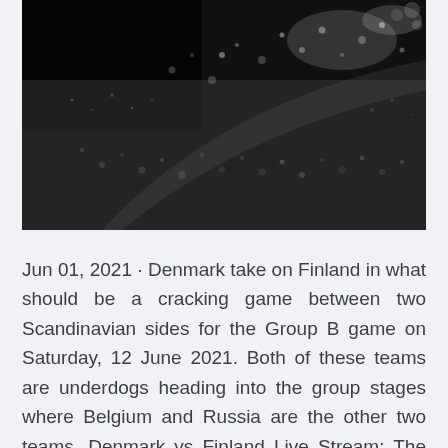[Figure (photo): Close-up black and white photo of water droplets on a dark surface, with highlights and texture visible across the frame.]
Jun 01, 2021 · Denmark take on Finland in what should be a cracking game between two Scandinavian sides for the Group B game on Saturday, 12 June 2021. Both of these teams are underdogs heading into the group stages where Belgium and Russia are the other two teams. Denmark vs Finland Live Stream: The match will kickoff at [...] Jun 13, 2021 · Croatia. W W L L L.